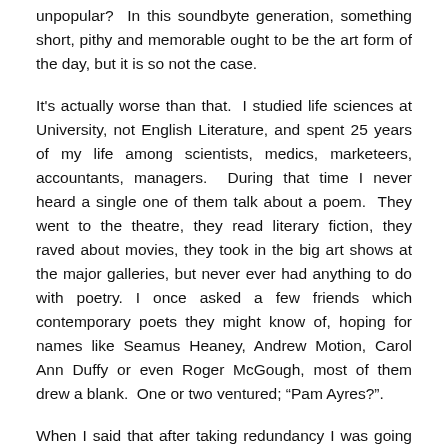unpopular? In this soundbyte generation, something short, pithy and memorable ought to be the art form of the day, but it is so not the case.
It's actually worse than that. I studied life sciences at University, not English Literature, and spent 25 years of my life among scientists, medics, marketeers, accountants, managers. During that time I never heard a single one of them talk about a poem. They went to the theatre, they read literary fiction, they raved about movies, they took in the big art shows at the major galleries, but never ever had anything to do with poetry. I once asked a few friends which contemporary poets they might know of, hoping for names like Seamus Heaney, Andrew Motion, Carol Ann Duffy or even Roger McGough, most of them drew a blank. One or two ventured; “Pam Ayres?”.
When I said that after taking redundancy I was going to study poetry, it closed down the conversation immediately. Nobody ever asked me if they could see my poems; on the other hand if I mentioned my (still half-baked) novel it was all “Can I see it?  Am I in it? What’s it